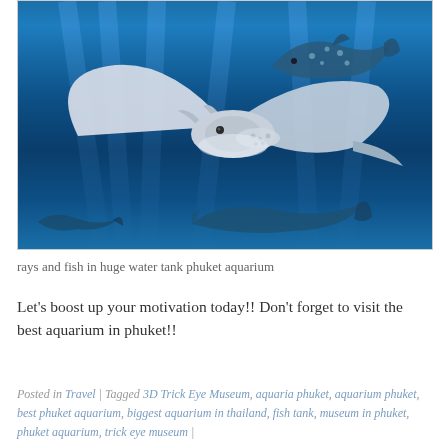[Figure (photo): Underwater photo showing manta rays and a whale shark swimming in deep blue ocean water with light rays filtering down from the surface. Large manta ray in foreground, whale shark visible in upper right, smaller rays visible at the bottom.]
rays and fish in huge water tank phuket aquarium
Let’s boost up your motivation today!! Don’t forget to visit the best aquarium in phuket!!
Posted in Travel | Tagged 3D Trick Eye Museum, aquaria phuket, aquarium phuket, best phuket aquarium, biggest aquarium in thailand, fish tank, museum in phuket, phuket aquarium, trick eye museum |